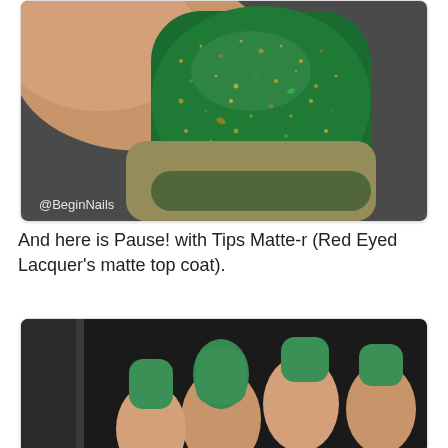[Figure (photo): Close-up macro photo of a fingernail painted with deep green glitter/flake nail polish, showing gold and green shimmer flakes on a dark background. Watermark @BeginNails in white text at bottom left.]
And here is Pause! with Tips Matte-r (Red Eyed Lacquer's matte top coat).
[Figure (photo): Close-up photo of fingernails painted with matte green nail polish, showing a ring on one finger, on a dark background.]